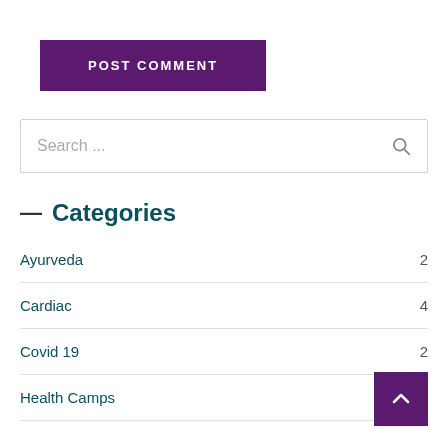POST COMMENT
Search ...
— Categories
Ayurveda  2
Cardiac  4
Covid 19  2
Health Camps  58